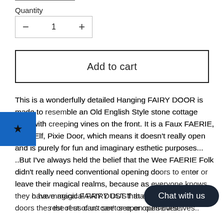Quantity
— 1 +
Add to cart
This is a wonderfully detailed Hanging FAIRY DOOR is made to resemble an Old English Style stone cottage door with creeping vines on the front. It is a Faux FAERIE, Troll, Elf, Pixie Door, which means it doesn't really open and is purely for fun and imaginary esthetic purposes...
..But I've always held the belief that the Wee FAERIE Folk didn't really need conventional opening doors to enter or leave their magical realms, because as everyone knows they have magical FAIRY DUST that allows them to open doors the rest of us can't see or open ourselves..
Chat with us